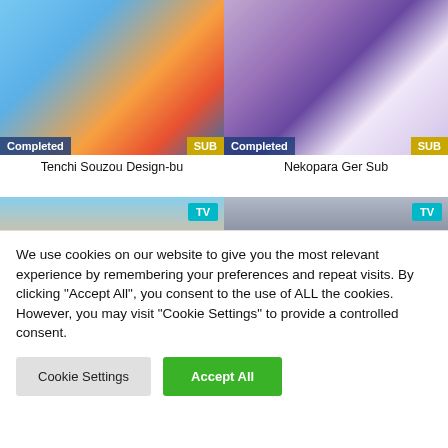[Figure (illustration): Anime thumbnail for Tenchi Souzou Design-bu showing anime characters with 'Completed' badge and 'SUB' label]
[Figure (illustration): Anime thumbnail for Nekopara Ger Sub showing anime girl characters with 'Completed' badge and 'SUB' label]
Tenchi Souzou Design-bu
Nekopara Ger Sub
[Figure (illustration): Scenic anime thumbnail with sky and clouds, TV badge]
[Figure (illustration): Dark atmospheric scene with buildings and towers, TV badge]
We use cookies on our website to give you the most relevant experience by remembering your preferences and repeat visits. By clicking "Accept All", you consent to the use of ALL the cookies. However, you may visit "Cookie Settings" to provide a controlled consent.
Cookie Settings
Accept All